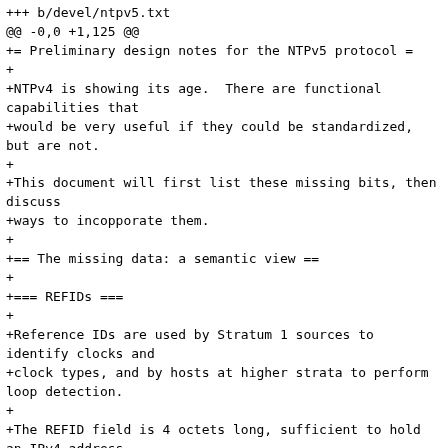+++ b/devel/ntpv5.txt
@@ -0,0 +1,125 @@
+= Preliminary design notes for the NTPv5 protocol =
+
+NTPv4 is showing its age.  There are functional capabilities that
+would be very useful if they could be standardized, but are not.
+
+This document will first list these missing bits, then discuss
+ways to incopporate them.
+
+== The missing data: a semantic view ==
+
+=== REFIDs ===
+
+Reference IDs are used by Stratum 1 sources to identify clocks and
+clock types, and by hosts at higher strata to perform loop detection.
+
+The REFID field is 4 octets long, sufficient to hold an IPv4 address
+for loop detection. This is inadequate for IPV6, so the reference ID of
+an IPv6 host is a 4-octet hash of itscactual address. Hash collisions
+have been observed in the wild, possiblty resulting in false-positive
+loop detection.